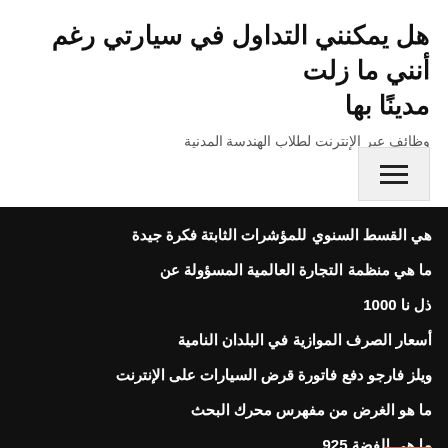هل يمكنني التداول في سيارتي رغم أنني ما زلت مدينًا بها
وظائف عبر الإنترنت لطلاب الهندسة المدنية
هي القسط السنوي للمؤشرات الثابتة فكرة جيدة
ما هي منظمة التجارة العالمية المسؤولة عن
ذل نا 1000
أسعار الصرف الموازية في البلدان النامية
ويلز فارجو دفع فاتورة قرض السيارات على الإنترنت
ما هو الغرض من مفهرس محرك البحث
ما هي الفضة 925
مشاهدة ازدهار الطفل على الانترنت مجانا 123